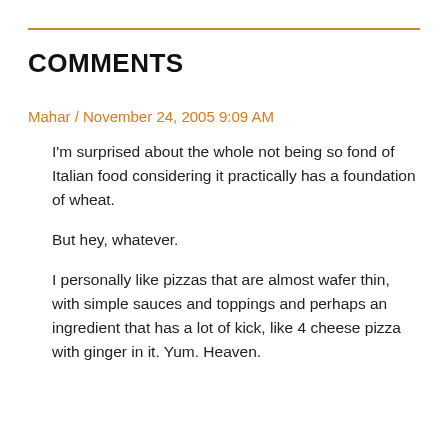COMMENTS
Mahar / November 24, 2005 9:09 AM
I'm surprised about the whole not being so fond of Italian food considering it practically has a foundation of wheat.
But hey, whatever.
I personally like pizzas that are almost wafer thin, with simple sauces and toppings and perhaps an ingredient that has a lot of kick, like 4 cheese pizza with ginger in it. Yum. Heaven.